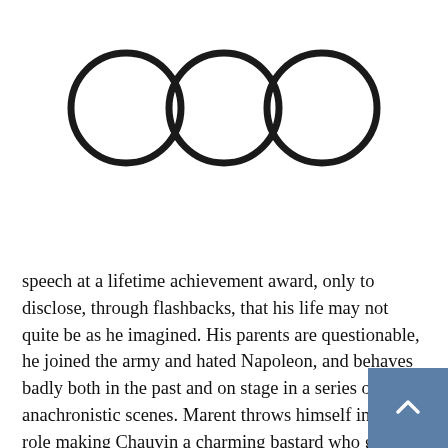[Figure (illustration): Three empty circles arranged horizontally, equal size, with thick black outlines on a white background.]
speech at a lifetime achievement award, only to disclose, through flashbacks, that his life may not quite be as he imagined. His parents are questionable, he joined the army and hated Napoleon, and behaves badly both in the past and on stage in a series of anachronistic scenes. Marent throws himself into the role making Chauvin a charming bastard who gets Crotty's joke. Audiences should too.